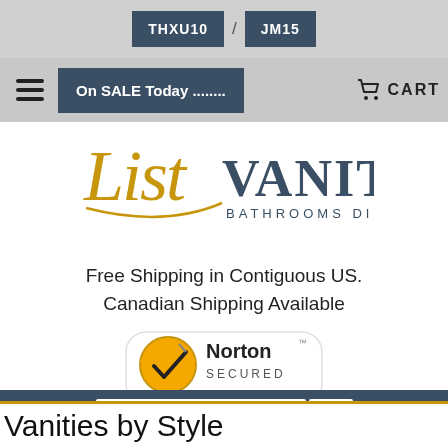THXU10 / JM15
On SALE Today ........ CART
[Figure (logo): ListVanities Bathrooms Direct logo — stylized script 'List' in gold/orange and serif 'VANITIES BATHROOMS DIRECT' in dark gray]
Free Shipping in Contiguous US. Canadian Shipping Available
[Figure (logo): Norton Secured powered by VeriSign badge — gold/orange circle with checkmark, black and gray text]
[Figure (screenshot): Search bar with magnifying glass icon on dark teal background]
Vanities by Style